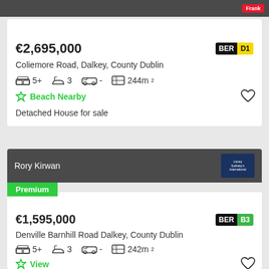Frank
€2,695,000 BER D1
Coliemore Road, Dalkey, County Dublin
5+  3  -  244m²
Beach Nearby
Detached House for sale
Rory Kirwan
Premium
€1,595,000 BER B3
Denville Barnhill Road Dalkey, County Dublin
5+  3  -  242m²
View
Semi-Detached House for sale